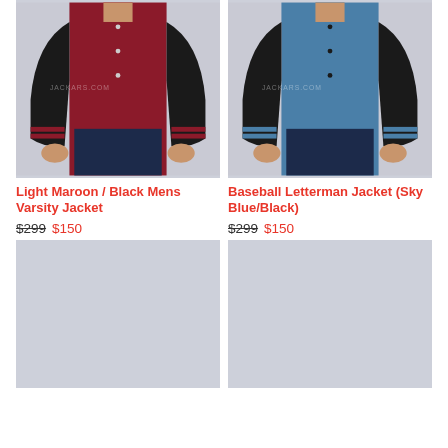[Figure (photo): Light maroon and black leather sleeve varsity jacket worn by male model, upper body shot against light grey background]
Light Maroon / Black Mens Varsity Jacket
$299 $150
[Figure (photo): Sky blue and black leather sleeve baseball letterman jacket worn by male model, upper body shot against light grey background]
Baseball Letterman Jacket (Sky Blue/Black)
$299 $150
[Figure (photo): Placeholder grey image for product (bottom left)]
[Figure (photo): Placeholder grey image for product (bottom right)]